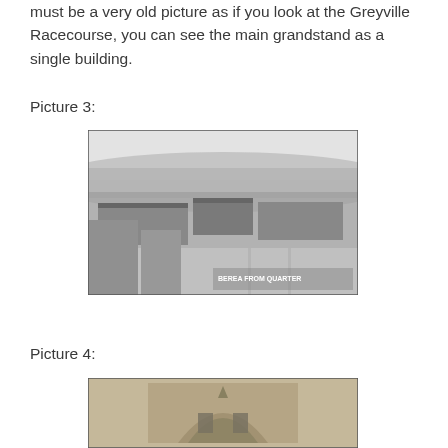must be a very old picture as if you look at the Greyville Racecourse, you can see the main grandstand as a single building.
Picture 3:
[Figure (photo): Black and white aerial/elevated photograph of what appears to be the Berea area of Durban, South Africa, showing the Greyville Racecourse grandstand and surrounding buildings and streets. Text visible in lower right reads 'BEREA [AREA] FROM [THE] QUARTER'.]
Picture 4:
[Figure (photo): Black and white photograph showing the top portion of what appears to be a building facade or grandstand structure at Greyville Racecourse.]